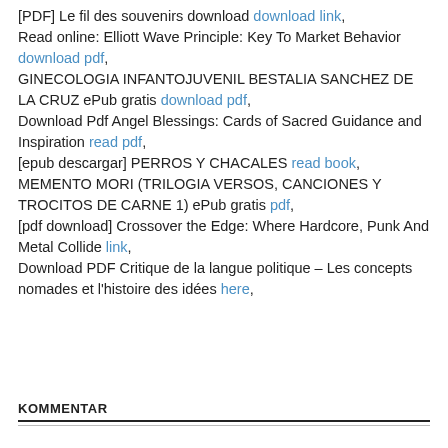[PDF] Le fil des souvenirs download download link, Read online: Elliott Wave Principle: Key To Market Behavior download pdf, GINECOLOGIA INFANTOJUVENIL BESTALIA SANCHEZ DE LA CRUZ ePub gratis download pdf, Download Pdf Angel Blessings: Cards of Sacred Guidance and Inspiration read pdf, [epub descargar] PERROS Y CHACALES read book, MEMENTO MORI (TRILOGIA VERSOS, CANCIONES Y TROCITOS DE CARNE 1) ePub gratis pdf, [pdf download] Crossover the Edge: Where Hardcore, Punk And Metal Collide link, Download PDF Critique de la langue politique – Les concepts nomades et l'histoire des idées here,
KOMMENTAR